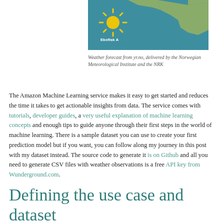[Figure (map): Weather forecast map showing the North Sea region with a yellow sun icon labeled 'Ekofisk A' on a teal/blue background with green landmass.]
Weather forecast from yr.no, delivered by the Norwegian Meteorological Institute and the NRK
The Amazon Machine Learning service makes it easy to get started and reduces the time it takes to get actionable insights from data. The service comes with tutorials, developer guides, a very useful explanation of machine learning concepts and enough tips to guide anyone through their first steps in the world of machine learning. There is a sample dataset you can use to create your first prediction model but if you want, you can follow along my journey in this post with my dataset instead. The source code to generate it is on Github and all you need to generate CSV files with weather observations is a free API key from Wunderground.com.
Defining the use case and dataset